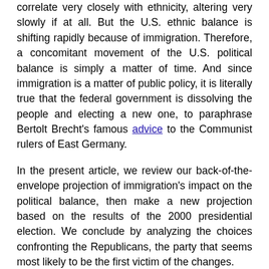correlate very closely with ethnicity, altering very slowly if at all. But the U.S. ethnic balance is shifting rapidly because of immigration. Therefore, a concomitant movement of the U.S. political balance is simply a matter of time. And since immigration is a matter of public policy, it is literally true that the federal government is dissolving the people and electing a new one, to paraphrase Bertolt Brecht's famous advice to the Communist rulers of East Germany.
In the present article, we review our back-of-the-envelope projection of immigration's impact on the political balance, then make a new projection based on the results of the 2000 presidential election. We conclude by analyzing the choices confronting the Republicans, the party that seems most likely to be the first victim of the changes.
Our view that demography is destiny was completely borne out by the 2000 presidential election. The